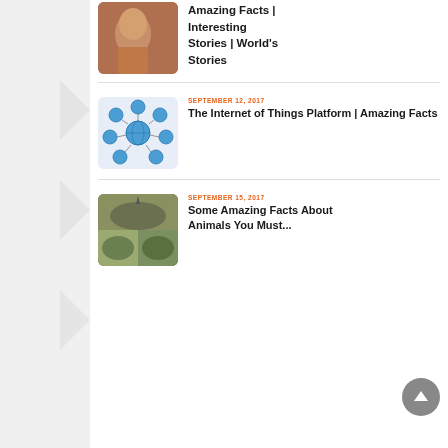[Figure (photo): Partial view of a child's face in profile (top of page, cropped)]
Amazing Facts | Interesting Stories | World's Stories
[Figure (illustration): Internet of Things diagram: globe surrounded by circular icons representing various IoT concepts]
SEPTEMBER 12, 2017
The Internet of Things Platform | Amazing Facts
[Figure (photo): Collage of animals including a rhinoceros and what appears to be elephants or other large mammals]
SEPTEMBER 15, 2017
Some Amazing Facts About Animals You Must...